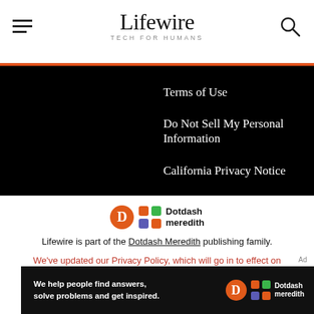Lifewire TECH FOR HUMANS
Terms of Use
Do Not Sell My Personal Information
California Privacy Notice
[Figure (logo): Dotdash Meredith logo with D icon and colored grid icon]
Lifewire is part of the Dotdash Meredith publishing family.
We've updated our Privacy Policy, which will go in to effect on September 1, 2022. Review our Privacy Policy
[Figure (illustration): Dotdash Meredith ad banner: We help people find answers, solve problems and get inspired.]